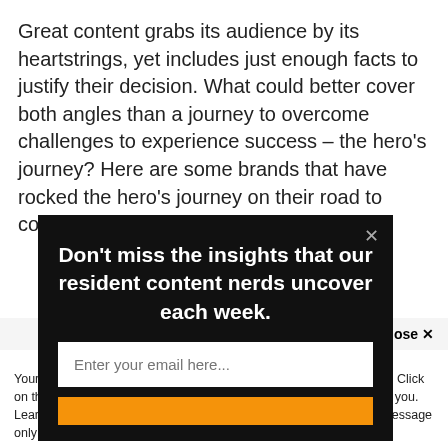Great content grabs its audience by its heartstrings, yet includes just enough facts to justify their decision. What could better cover both angles than a journey to overcome challenges to experience success – the hero's journey? Here are some brands that have rocked the hero's journey on their road to content marketing success.
[Figure (screenshot): Email signup popup overlay with dark background. Heading: 'Don't miss the insights that our resident content nerds uncover each week.' Input field placeholder: 'Enter your email here...' Orange subscribe button below.]
n 2018 – at onventional nate mind ven by deo. Coca-
Accept and Close ✕
Your browser settings do not allow cross-site tracking for advertising. Click on this page to allow AdRoll to use cross-site tracking to tailor ads to you. Learn more or opt out of this AdRoll tracking by clicking here. This message only appears once.